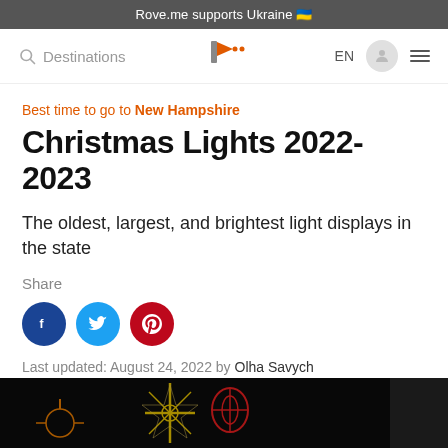Rove.me supports Ukraine 🇺🇦
Destinations | Rove.me logo | EN | [user icon] [menu]
Best time to go to New Hampshire
Christmas Lights 2022-2023
The oldest, largest, and brightest light displays in the state
Share
[Figure (other): Social share buttons: Facebook (dark blue circle with f), Twitter (light blue circle with bird), Pinterest (red circle with P)]
Last updated: August 24, 2022 by Olha Savych
[Figure (photo): Night photo of Christmas light displays showing a star/cross shape and floral light decorations on a dark background]